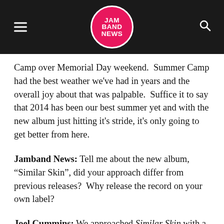JAM BAND NEWS
Camp over Memorial Day weekend.  Summer Camp had the best weather we've had in years and the overall joy about that was palpable.  Suffice it to say that 2014 has been our best summer yet and with the new album just hitting it's stride, it's only going to get better from here.
Jamband News: Tell me about the new album, “Similar Skin”, did your approach differ from previous releases?  Why release the record on your own label?
Joel Cummins: We approached Similar Skin with a goal of making a real rock record.  That element stays consistent from start to finish, I have to give credit to producer Manny Sanchez for really helping us keep our eye on the goal.  Umphrey’s has become known for our ability to change gears live and that’s something that will certainly stay the same, but to go into the studio and produce something more cohesive, we had to reign in the stylistic